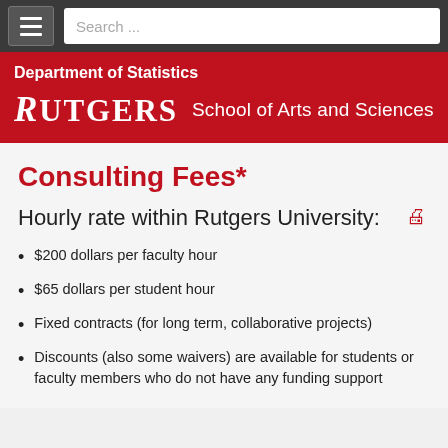Search ...
Department of Statistics
[Figure (logo): Rutgers School of Arts and Sciences logo with wordmark]
Consulting Fees*
Hourly rate within Rutgers University:
$200 dollars per faculty hour
$65 dollars per student hour
Fixed contracts (for long term, collaborative projects)
Discounts (also some waivers) are available for students or faculty members who do not have any funding support